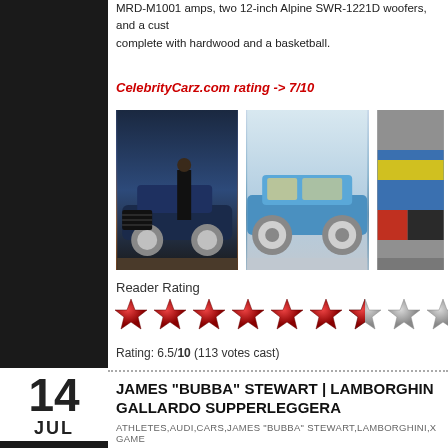MRD-M1001 amps, two 12-inch Alpine SWR-1221D woofers, and a custom complete with hardwood and a basketball.
CelebrityCarz.com rating -> 7/10
[Figure (photo): Photo 1: Person standing next to a dark blue lowrider Lincoln Continental at night]
[Figure (photo): Photo 2: Blue lowrider Lincoln Continental side view with large chrome wheels]
[Figure (photo): Photo 3: Partial view of a car with yellow and blue bodywork]
Reader Rating
[Figure (other): Star rating: 6.5 out of 10 red stars, remaining silver]
Rating: 6.5/10 (113 votes cast)
JAMES “BUBBA” STEWART | LAMBORGHINI GALLARDO SUPPERLEGGERA
ATHLETES,AUDI,CARS,JAMES "BUBBA" STEWART,LAMBORGHINI,X GAME